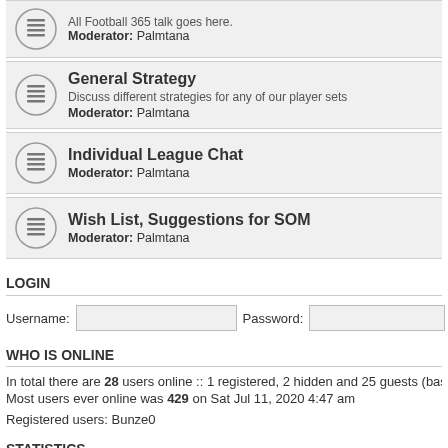General Strategy
Discuss different strategies for any of our player sets
Moderator: Palmtana
Individual League Chat
Moderator: Palmtana
Wish List, Suggestions for SOM
Moderator: Palmtana
LOGIN
Username:    Password:
WHO IS ONLINE
In total there are 28 users online :: 1 registered, 2 hidden and 25 guests (based on user
Most users ever online was 429 on Sat Jul 11, 2020 4:47 am
Registered users: Bunze0
STATISTICS
Total posts 464334 • Total topics 19563 • Total members 12309 • Our newest member M